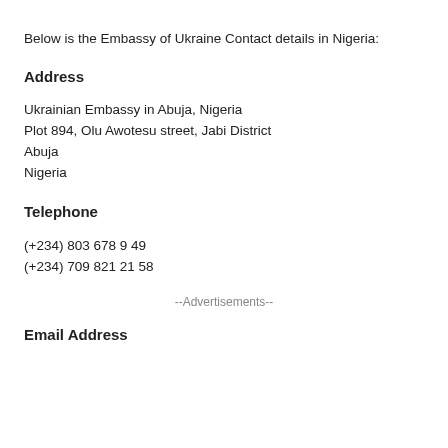Below is the Embassy of Ukraine Contact details in Nigeria:
Address
Ukrainian Embassy in Abuja, Nigeria
Plot 894, Olu Awotesu street, Jabi District
Abuja
Nigeria
Telephone
(+234) 803 678 9 49
(+234) 709 821 21 58
--Advertisements--
Email Address